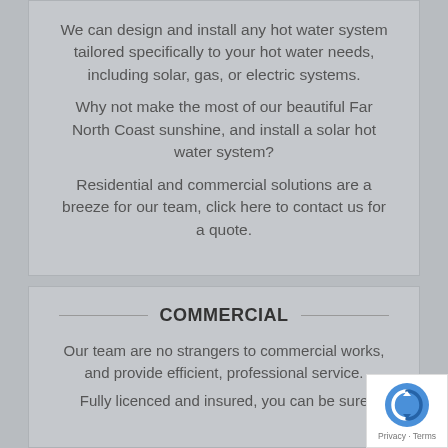We can design and install any hot water system tailored specifically to your hot water needs, including solar, gas, or electric systems.
Why not make the most of our beautiful Far North Coast sunshine, and install a solar hot water system?
Residential and commercial solutions are a breeze for our team, click here to contact us for a quote.
COMMERCIAL
Our team are no strangers to commercial works, and provide efficient, professional service.
Fully licenced and insured, you can be sure